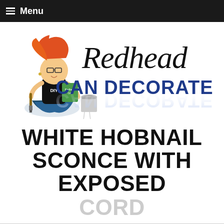≡ Menu
[Figure (logo): Redhead Can Decorate logo with cartoon redhead woman sitting cross-legged holding a book and paint brush, with paint can, and cursive 'Redhead' text above bold blue 'CAN DECORATE' text]
WHITE HOBNAIL SCONCE WITH EXPOSED CORD